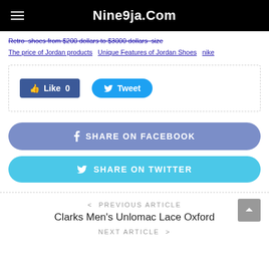Nine9ja.Com
Retro  shoes from $200 dollars to $3000 dollars  size
The price of Jordan products  Unique Features of Jordan Shoes  nike
[Figure (screenshot): Social share box with Facebook Like button showing 0 likes and a Twitter Tweet button]
[Figure (screenshot): Share on Facebook button (blue-purple rounded) and Share on Twitter button (cyan rounded)]
< PREVIOUS ARTICLE
Clarks Men's Unlomac Lace Oxford
NEXT ARTICLE >